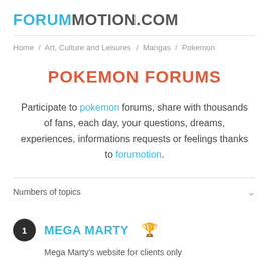FORUMOTION.COM
Home / Art, Culture and Leisures / Mangas / Pokemon
POKEMON FORUMS
Participate to pokemon forums, share with thousands of fans, each day, your questions, dreams, experiences, informations requests or feelings thanks to forumotion.
Numbers of topics
1 MEGA MARTY
Mega Marty's website for clients only